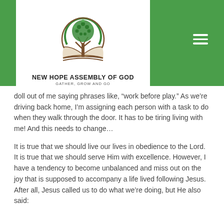[Figure (logo): New Hope Assembly of God logo: a tree with green leaves inside a circular arc, above an open book, with brown trunk]
NEW HOPE ASSEMBLY OF GOD
GATHER, GROW AND GO
doll out of me saying phrases like, “work before play.” As we’re driving back home, I’m assigning each person with a task to do when they walk through the door. It has to be tiring living with me! And this needs to change…
It is true that we should live our lives in obedience to the Lord. It is true that we should serve Him with excellence. However, I have a tendency to become unbalanced and miss out on the joy that is supposed to accompany a life lived following Jesus. After all, Jesus called us to do what we’re doing, but He also said: